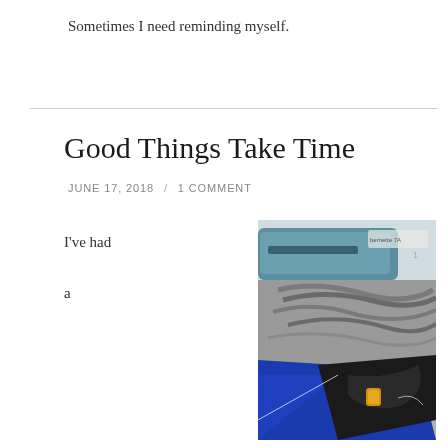Sometimes I need reminding myself.
Good Things Take Time
JUNE 17, 2018 / 1 COMMENT
I've had
a
[Figure (photo): A sewing or crafting scene: blue fabric, black fabric piece, grey elastic bands, a sewing machine in background, a yellow snap or button, and thread visible on a table.]